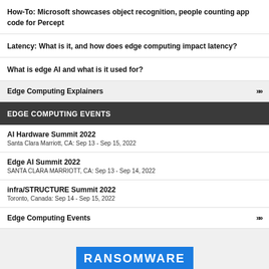How-To: Microsoft showcases object recognition, people counting app code for Percept
Latency: What is it, and how does edge computing impact latency?
What is edge AI and what is it used for?
Edge Computing Explainers
EDGE COMPUTING EVENTS
AI Hardware Summit 2022
Santa Clara Marriott, CA: Sep 13 - Sep 15, 2022
Edge AI Summit 2022
SANTA CLARA MARRIOTT, CA: Sep 13 - Sep 14, 2022
infra/STRUCTURE Summit 2022
Toronto, Canada: Sep 14 - Sep 15, 2022
Edge Computing Events
[Figure (other): Partial blue banner with white bold text beginning with 'RANSOMWARE' (or similar), cut off at bottom of page]